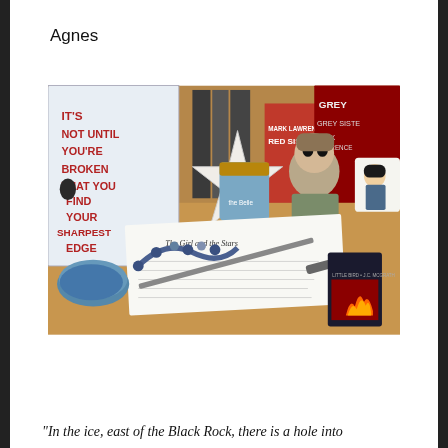Agnes
[Figure (photo): A flat-lay photograph showing a collection of book-related items on a wooden surface: a book with red text reading 'IT'S NOT UNTIL YOU'RE BROKEN THAT YOU FIND YOUR SHARPEST EDGE', candles, a beaded bracelet, a sword prop, a star-shaped cushion, Funko Pop figure, a mug with a character design, cards including one with flames, books titled 'Red Sister' and 'Grey Sister' by Mark Lawrence, and printed pages with text 'The Girl and the Stars'.]
“In the ice, east of the Black Rock, there is a hole into